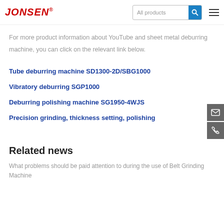JONSEN | All products
For more product information about YouTube and sheet metal deburring machine, you can click on the relevant link below.
Tube deburring machine SD1300-2D/SBG1000
Vibratory deburring SGP1000
Deburring polishing machine SG1950-4WJS
Precision grinding, thickness setting, polishing
Related news
What problems should be paid attention to during the use of Belt Grinding Machine